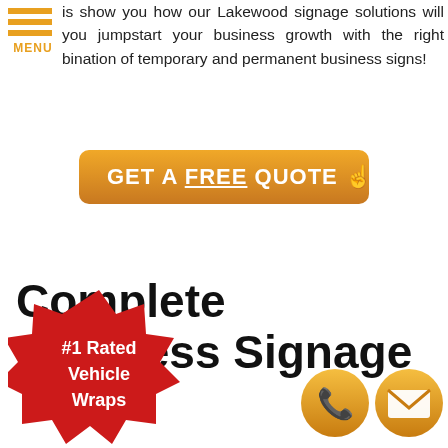is show you how our Lakewood signage solutions will you jumpstart your business growth with the right bination of temporary and permanent business signs!
[Figure (other): Orange hamburger menu icon with three horizontal lines and MENU text below]
[Figure (other): Orange rounded rectangle CTA button reading GET A FREE QUOTE with hand pointer icon]
Complete Business Signage
[Figure (other): Red starburst badge with white text reading #1 Rated Vehicle Wraps]
[Figure (other): Orange circle phone icon at bottom right]
[Figure (other): Orange circle mail/envelope icon at bottom right]